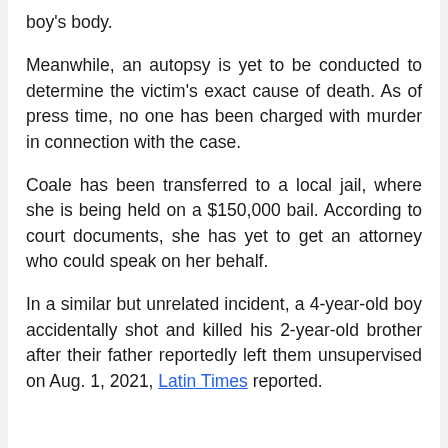boy's body.
Meanwhile, an autopsy is yet to be conducted to determine the victim's exact cause of death. As of press time, no one has been charged with murder in connection with the case.
Coale has been transferred to a local jail, where she is being held on a $150,000 bail. According to court documents, she has yet to get an attorney who could speak on her behalf.
In a similar but unrelated incident, a 4-year-old boy accidentally shot and killed his 2-year-old brother after their father reportedly left them unsupervised on Aug. 1, 2021, Latin Times reported.